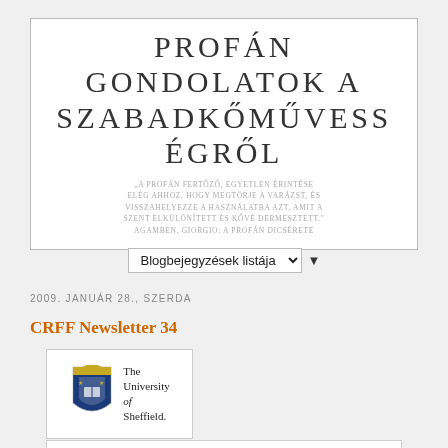PROFÁN GONDOLATOK A SZABADKŐMŰVESS ÉGRŐL
"A PROFÁN FERTŐZŐ, EGYETLEN ÉRINTÉSE ELÉG AHHOZ, HOGY MEGTÖRJE A VARÁZST, ÉS VISSZAHELYEZZE A HASZNÁLATBA AZT, AMIT A SZENT ELKÜLÖNÍTETT ÉS KŐVÉ DERMESZTETT." AGAMBEN, GIORGIO: A PROFÁN DICSÉRETE
Blogbejegyzések listája
2009. JANUÁR 28., SZERDA
CRFF Newsletter 34
[Figure (logo): The University of Sheffield shield logo with text]
[Figure (logo): The Centre for Research into Freemasonry text logo]